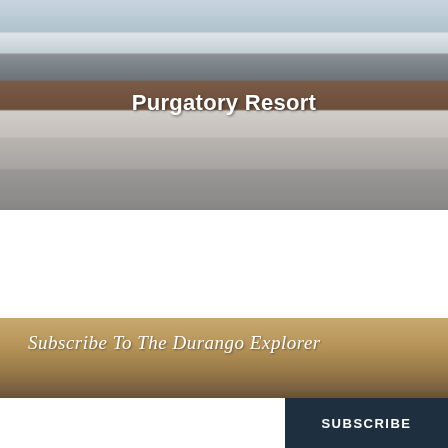[Figure (photo): Aerial view of Purgatory Resort ski lodge with snowy mountains in background and crowd of skiers on the snow-covered base area]
Purgatory Resort
[Figure (photo): Sunset/twilight landscape photo with desert rock formations silhouetted against an orange-brown sky, used as background for newsletter subscription section]
Subscribe To The Durango Explorer